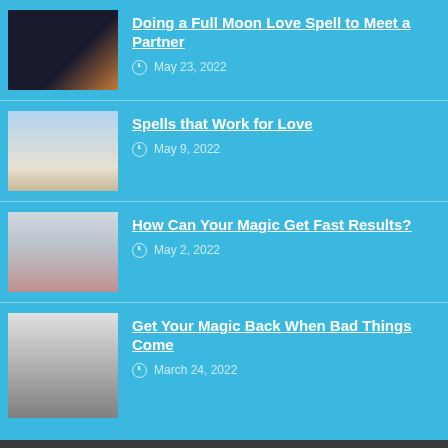[Figure (photo): Dark curtain with moon visible, thumbnail for article 1]
Doing a Full Moon Love Spell to Meet a Partner
May 23, 2022
[Figure (photo): Couple about to kiss, thumbnail for article 2]
Spells that Work for Love
May 9, 2022
[Figure (photo): Stressed woman holding her head, thumbnail for article 3]
How Can Your Magic Get Fast Results?
May 2, 2022
[Figure (photo): Black and white photo of couple, thumbnail for article 4]
Get Your Magic Back When Bad Things Come
March 24, 2022
Legal Notice - Privacy Policy © Copyright 2022, All Rights Reserved